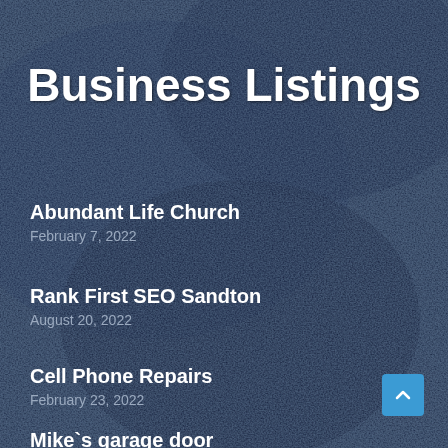[Figure (photo): Dark blue textured background resembling a satellite or aerial view with rocky/terrain-like surface in deep navy blue tones]
Business Listings
Abundant Life Church
February 7, 2022
Rank First SEO Sandton
August 20, 2022
Cell Phone Repairs
February 23, 2022
Mike`s garage door